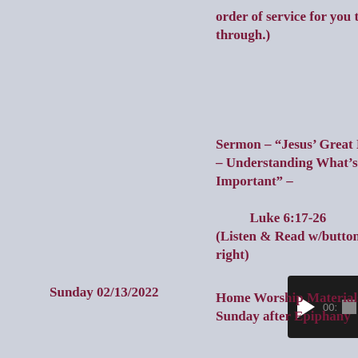order of service for you to read through.)
Sermon – “Jesus’ Great Reversal – Understanding What’s Important” –

        Luke 6:17-26
(Listen & Read w/buttons to the right)
Sunday 02/13/2022
[Figure (screenshot): Audio media player widget with dark background, play button, stop button, and time display showing 00:]
[Figure (illustration): Blue book reader app icon with open book graphic]
Home Worship Materials – Sixth Sunday after Epiphany